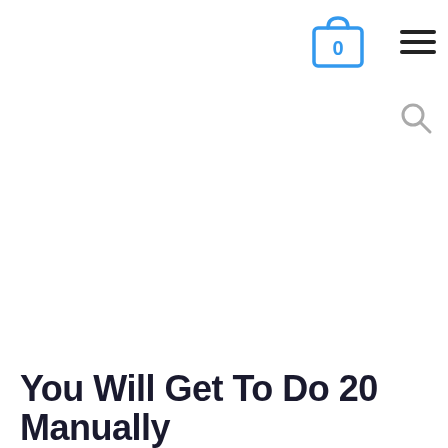[Figure (screenshot): Shopping cart icon with '0' indicator in blue, top navigation bar element]
[Figure (screenshot): Hamburger menu icon (three horizontal lines) in dark color, top navigation bar element]
[Figure (screenshot): Search/magnifying glass icon in gray, navigation element]
You Will Get To Do 20 Manually